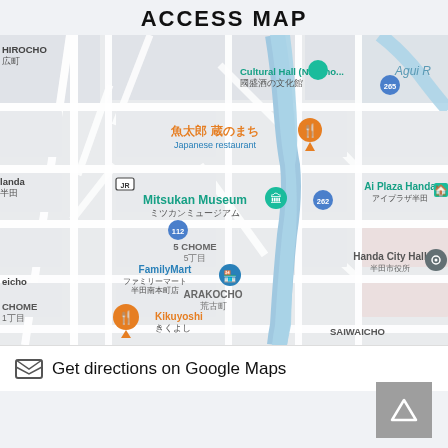ACCESS MAP
[Figure (map): Google Maps showing area around Mitsukan Museum in Handa city, Aichi, Japan. Shows landmarks including Cultural Hall (Nakano...) / 國盛酒の文化館, 魚太郎 蔵のまち Japanese restaurant, Ai Plaza Handa / アイプラザ半田, Mitsukan Museum / ミツカンミュージアム, FamilyMart / ファミリーマート 半田南本町店, Handa City Hall / 半田市役所, Kikuyoshi / きくよし, neighborhoods HIROCHO/広町, ARAKOCHO/荒古町, SAIWAICHO, 5 CHOME/5丁目, road numbers 112, 262, 265, and a blue river running through the map.]
Get directions on Google Maps